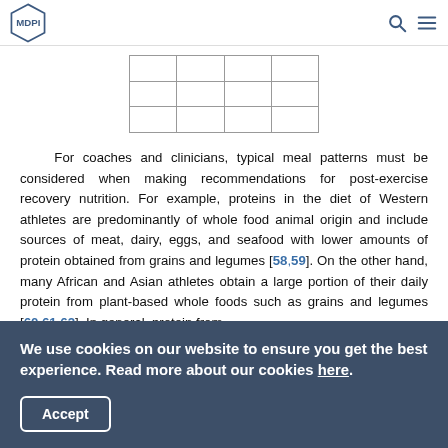MDPI
[Figure (table-as-image): Partial view of a table from the article]
For coaches and clinicians, typical meal patterns must be considered when making recommendations for post-exercise recovery nutrition. For example, proteins in the diet of Western athletes are predominantly of whole food animal origin and include sources of meat, dairy, eggs, and seafood with lower amounts of protein obtained from grains and legumes [58,59]. On the other hand, many African and Asian athletes obtain a large portion of their daily protein from plant-based whole foods such as grains and legumes [60,61,62]. In general, protein from
We use cookies on our website to ensure you get the best experience. Read more about our cookies here.
Accept